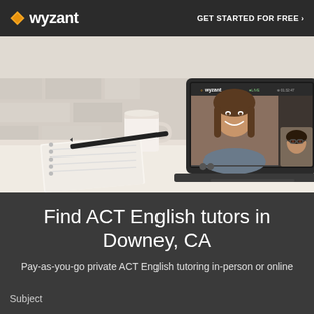wyzant  GET STARTED FOR FREE ›
[Figure (photo): Laptop on a desk showing a video tutoring session with a smiling woman on screen and a smaller inset of another person. A notebook, pen, and mug are also visible on the desk.]
Find ACT English tutors in Downey, CA
Pay-as-you-go private ACT English tutoring in-person or online
Subject